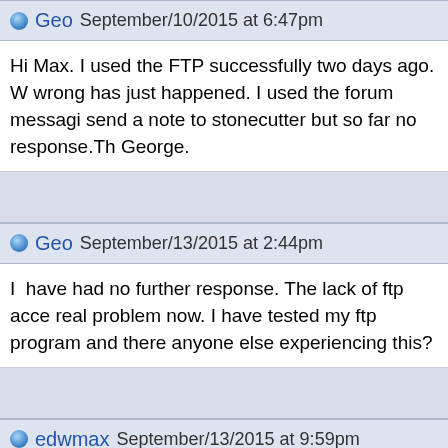Geo September/10/2015 at 6:47pm
Hi Max. I used the FTP successfully two days ago. W wrong has just happened. I used the forum messagi send a note to stonecutter but so far no response.Th George.
Geo September/13/2015 at 2:44pm
I  have had no further response. The lack of ftp acce real problem now. I have tested my ftp program and there anyone else experiencing this?
edwmax September/13/2015 at 9:59pm
What is the address for your FTP server?      The 7e server seems to be working.  I don't have an accoun is filling out the response.